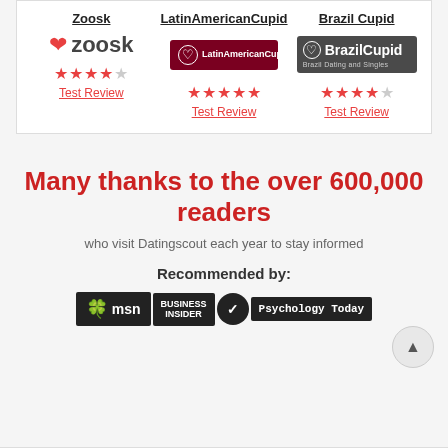[Figure (other): Comparison card with three dating sites: Zoosk (3.5 stars), LatinAmericanCupid (4.5 stars), Brazil Cupid (4 stars), each with logos and Test Review links]
Many thanks to the over 600,000 readers
who visit Datingscout each year to stay informed
Recommended by:
[Figure (logo): Recommended by logos: MSN, Business Insider, Verizon check, Psychology Today]